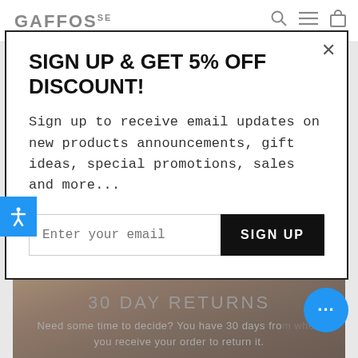GAFFOSSE
SIGN UP & GET 5% OFF DISCOUNT!
Sign up to receive email updates on new products announcements, gift ideas, special promotions, sales and more...
[Figure (screenshot): Email signup form with input field labeled 'Enter your email' and a black 'SIGN UP' button]
[Figure (photo): Background photo of hands handling a package/box]
30 DAY RETURNS
Need some time to decide? You have 30 days from when you receive your order to return it.